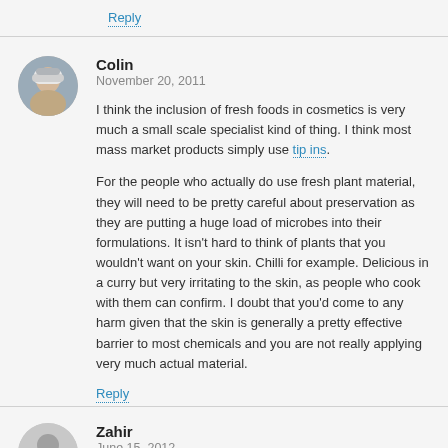Reply
Colin
November 20, 2011
I think the inclusion of fresh foods in cosmetics is very much a small scale specialist kind of thing. I think most mass market products simply use tip ins.
For the people who actually do use fresh plant material, they will need to be pretty careful about preservation as they are putting a huge load of microbes into their formulations. It isn't hard to think of plants that you wouldn't want on your skin. Chilli for example. Delicious in a curry but very irritating to the skin, as people who cook with them can confirm. I doubt that you'd come to any harm given that the skin is generally a pretty effective barrier to most chemicals and you are not really applying very much actual material.
Reply
Zahir
June 15, 2012